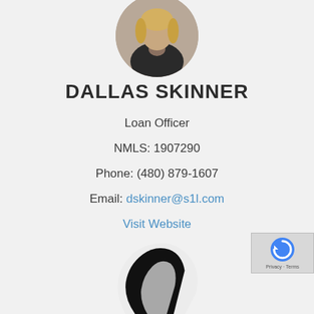[Figure (photo): Circular profile photo of Dallas Skinner, a person in a dark jacket with light hair, partially cropped at the top of the page]
DALLAS SKINNER
Loan Officer
NMLS: 1907290
Phone: (480) 879-1607
Email: dskinner@s1l.com
Visit Website
[Figure (logo): Partial dark logo visible at bottom center of the page, appears to be a stylized letter or swoosh shape in black]
[Figure (other): reCAPTCHA badge in bottom right corner with circular arrow logo, Privacy and Terms links]